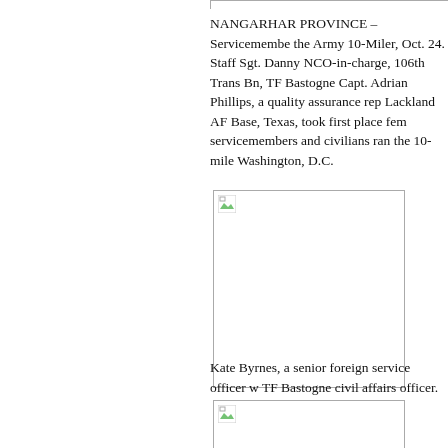NANGARHAR PROVINCE – Servicemembers ran the Army 10-Miler, Oct. 24. Staff Sgt. Danny NCO-in-charge, 106th Trans Bn, TF Bastogne. Capt. Adrian Phillips, a quality assurance rep Lackland AF Base, Texas, took first place fem servicemembers and civilians ran the 10-mile Washington, D.C.
[Figure (photo): Photograph (broken/placeholder image) related to the Army 10-Miler event in Nangarhar Province]
Kate Byrnes, a senior foreign service officer w TF Bastogne civil affairs officer.
[Figure (photo): Second photograph (broken/placeholder image) related to the article]